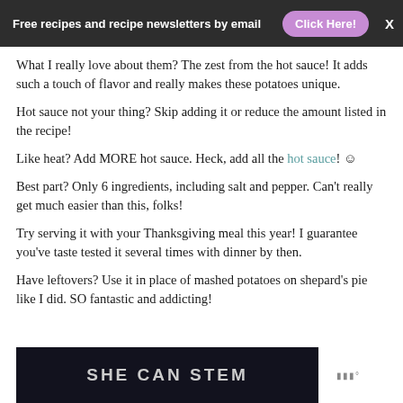Free recipes and recipe newsletters by email  Click Here!  X
What I really love about them? The zest from the hot sauce! It adds such a touch of flavor and really makes these potatoes unique.
Hot sauce not your thing? Skip adding it or reduce the amount listed in the recipe!
Like heat? Add MORE hot sauce. Heck, add all the hot sauce! ☺
Best part? Only 6 ingredients, including salt and pepper. Can't really get much easier than this, folks!
Try serving it with your Thanksgiving meal this year! I guarantee you've taste tested it several times with dinner by then.
Have leftovers? Use it in place of mashed potatoes on shepard's pie like I did. SO fantastic and addicting!
[Figure (logo): SHE CAN STEM advertisement banner on dark background with logo mark]